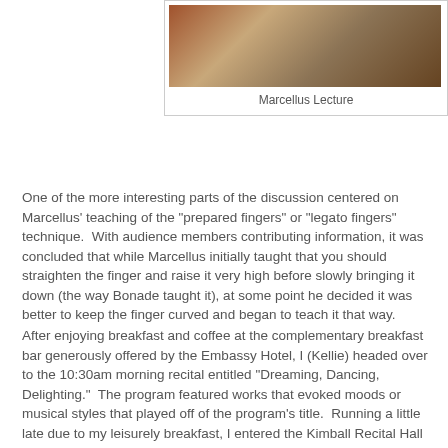[Figure (photo): People seated in a lecture hall, viewed from behind, with wooden chairs visible]
Marcellus Lecture
One of the more interesting parts of the discussion centered on Marcellus' teaching of the "prepared fingers" or "legato fingers" technique.  With audience members contributing information, it was concluded that while Marcellus initially taught that you should straighten the finger and raise it very high before slowly bringing it down (the way Bonade taught it), at some point he decided it was better to keep the finger curved and began to teach it that way.
After enjoying breakfast and coffee at the complementary breakfast bar generously offered by the Embassy Hotel, I (Kellie) headed over to the 10:30am morning recital entitled "Dreaming, Dancing, Delighting."  The program featured works that evoked moods or musical styles that played off of the program's title.  Running a little late due to my leisurely breakfast, I entered the Kimball Recital Hall just in time to hear the third piece on the program, Richard Rodney